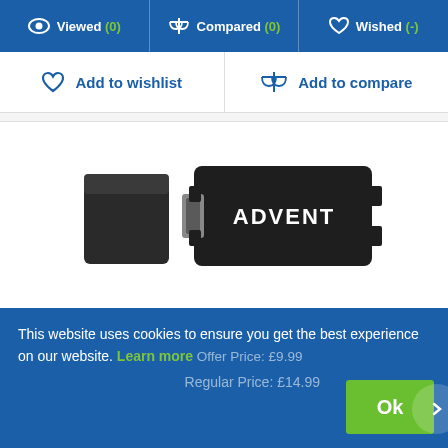Viewed (0)  Compared (0)  Wished (-)
Add to wishlist
Add to compare
[Figure (photo): ADVENT branded USB Type-C memory card reader with black body and SD card slot, shown with a black memory card beside it]
ADVENT ACRTPC20 USB Type-C Memory Card Reader
Offer Price: £9.99
Regular Price: £14.99
This website uses cookies to ensure you get the best experience on our website. Learn more
Ok